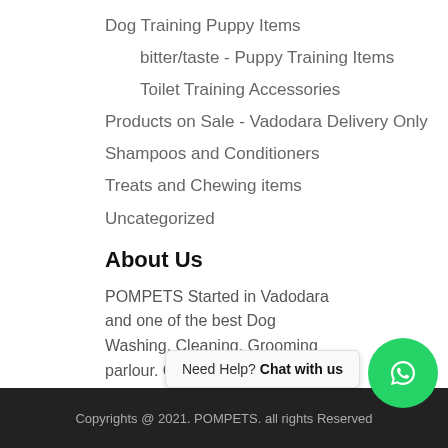Dog Training Puppy Items
bitter/taste - Puppy Training Items
Toilet Training Accessories
Products on Sale - Vadodara Delivery Only
Shampoos and Conditioners
Treats and Chewing items
Uncategorized
About Us
POMPETS Started in Vadodara and one of the best Dog Washing, Cleaning, Grooming parlour. Get your Dog Groomed with us.
Copyrights @ 2021. POMPETS. all rights Reserved